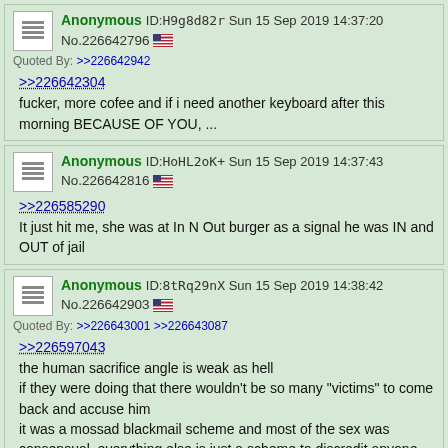Anonymous ID:H9g8d82r Sun 15 Sep 2019 14:37:20 No.226642796 | Quoted By: >>226642942 | >>226642304 | fucker, more cofee and if i need another keyboard after this morning BECAUSE OF YOU, ...
Anonymous ID:HoHL2oK+ Sun 15 Sep 2019 14:37:43 No.226642816 | >>226585290 | It just hit me, she was at In N Out burger as a signal he was IN and OUT of jail
Anonymous ID:8tRq29nX Sun 15 Sep 2019 14:38:42 No.226642903 | Quoted By: >>226643001 >>226643087 | >>226597043 | the human sacrifice angle is weak as hell | if they were doing that there wouldn't be so many "victims" to come back and accuse him | it was a mossad blackmail scheme and most of the sex was consensual, everything else is just a scheme to discredit anyone still talking about this
Anonymous ID:H8p8d93p Sun 15 Sep 2019 14:39:59